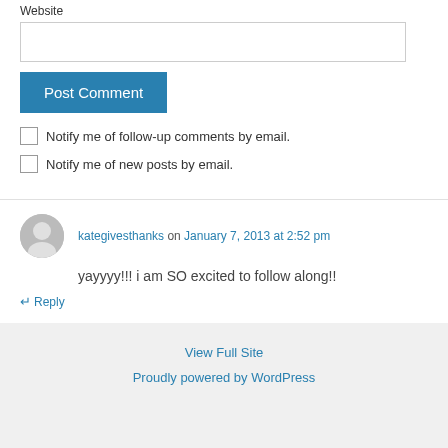Website
Post Comment
Notify me of follow-up comments by email.
Notify me of new posts by email.
kategivesthanks on January 7, 2013 at 2:52 pm
yayyyy!!! i am SO excited to follow along!!
↵ Reply
View Full Site
Proudly powered by WordPress